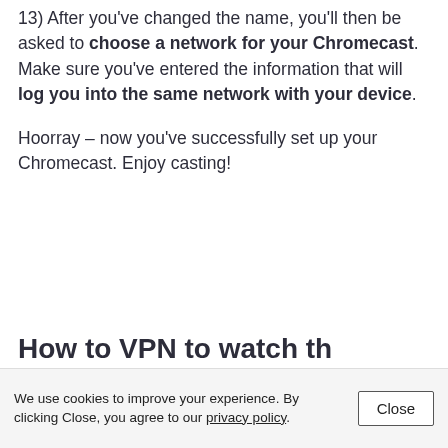13) After you've changed the name, you'll then be asked to choose a network for your Chromecast. Make sure you've entered the information that will log you into the same network with your device.
Hoorray – now you've successfully set up your Chromecast. Enjoy casting!
How to VPN to watch the...
We use cookies to improve your experience. By clicking Close, you agree to our privacy policy.